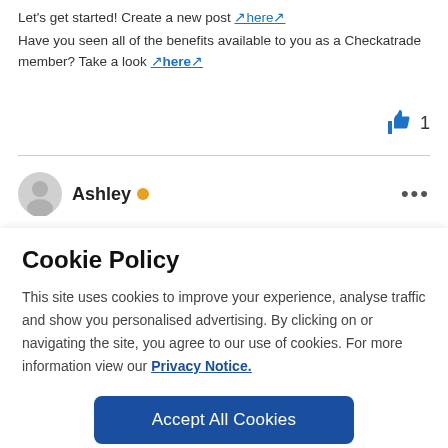Let's get started! Create a new post ↗here↗
Have you seen all of the benefits available to you as a Checkatrade member? Take a look ↗here↗
[Figure (illustration): Blue thumbs-up like icon with the number 1 beside it]
[Figure (illustration): Grey circular avatar icon for user Ashley with orange online indicator dot and three-dot menu on the right]
Cookie Policy
This site uses cookies to improve your experience, analyse traffic and show you personalised advertising. By clicking on or navigating the site, you agree to our use of cookies. For more information view our Privacy Notice.
Accept All Cookies